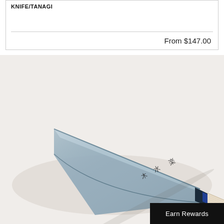KNIFE/TANAGI
From $147.00
[Figure (photo): A Japanese Deba knife with a blue-grey steel blade featuring Japanese kanji characters, a dark navy collar, and a light wood handle, photographed diagonally on a white background.]
Earn Rewards